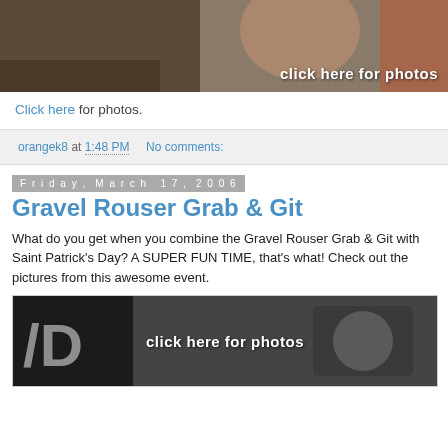[Figure (photo): Photo of a person drinking from a bottle, with overlay text 'click here for photos']
Click here for photos.
orangek8 at 1:48 PM   No comments:
Friday, March 17, 2006
Gravel Rouser Grab & Git
What do you get when you combine the Gravel Rouser Grab & Git with Saint Patrick's Day? A SUPER FUN TIME, that's what! Check out the pictures from this awesome event.
[Figure (photo): Photo with overlay text 'click here for photos']